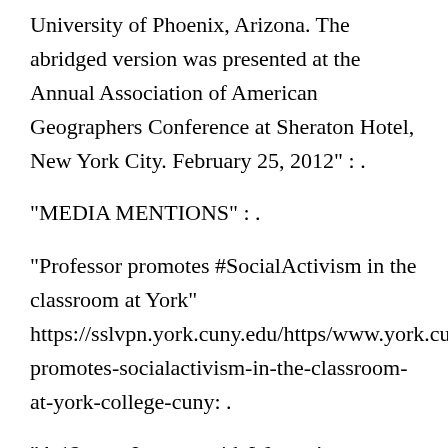University of Phoenix, Arizona. The abridged version was presented at the Annual Association of American Geographers Conference at Sheraton Hotel, New York City. February 25, 2012" : .
"MEDIA MENTIONS" : .
"Professor promotes #SocialActivism in the classroom at York" https://sslvpn.york.cuny.edu/https/www.york.cuny.e promotes-socialactivism-in-the-classroom-at-york-college-cuny: .
"A 12 year Journey with Women’s Federation